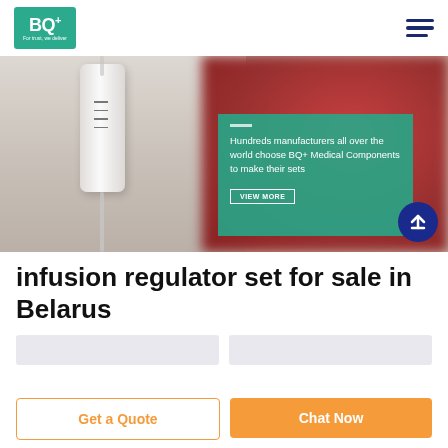[Figure (logo): BQ+ logo with green background, text 'BQ+' and tagline 'For trust, we deliver']
[Figure (photo): Hero banner showing an IV infusion regulator/roller clamp in white against a blurred red/pink background, with a teal overlay box containing text: 'Hundreds manufacturers all over the world choose BQ+ Medical Components to make their sets' and a VIEW MORE button]
infusion regulator set for sale in Belarus
Get a Quote
Chat Now